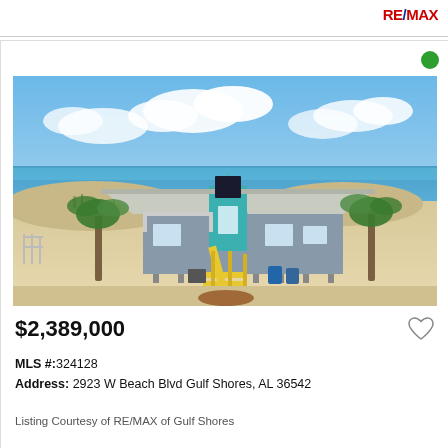RE/MAX
[Figure (photo): Aerial/front view of a beach house on stilts with gray siding, teal accents, yellow staircase, metal roof, and palm trees, located on Gulf Shores beach]
$2,389,000
MLS #:324128
Address: 2923 W Beach Blvd Gulf Shores, AL 36542
Listing Courtesy of RE/MAX of Gulf Shores